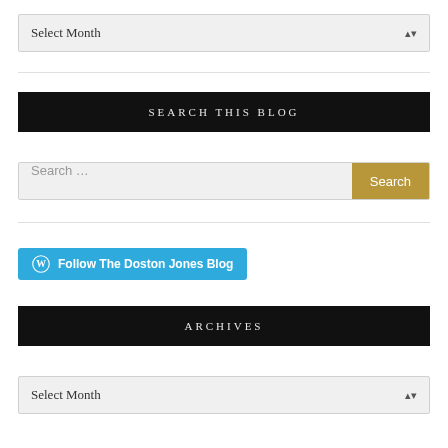Select Month
SEARCH THIS BLOG
Search ...
Follow The Doston Jones Blog
ARCHIVES
Select Month